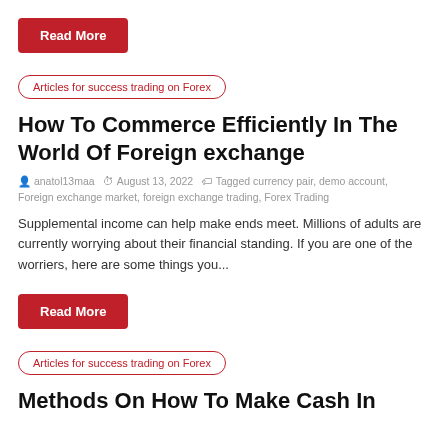Read More
Articles for success trading on Forex
How To Commerce Efficiently In The World Of Foreign exchange
anatol13maa  August 13, 2022  Tagged currency pair, demo account, Foreign exchange market, foreign exchange trading, Forex Trading
Supplemental income can help make ends meet. Millions of adults are currently worrying about their financial standing. If you are one of the worriers, here are some things you...
Read More
Articles for success trading on Forex
Methods On How To Make Cash In...